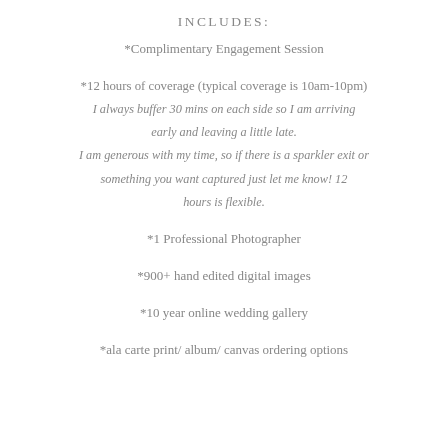INCLUDES:
*Complimentary Engagement Session
*12 hours of coverage (typical coverage is 10am-10pm) I always buffer 30 mins on each side so I am arriving early and leaving a little late. I am generous with my time, so if there is a sparkler exit or something you want captured just let me know! 12 hours is flexible.
*1 Professional Photographer
*900+ hand edited digital images
*10 year online wedding gallery
*ala carte print/ album/ canvas ordering options